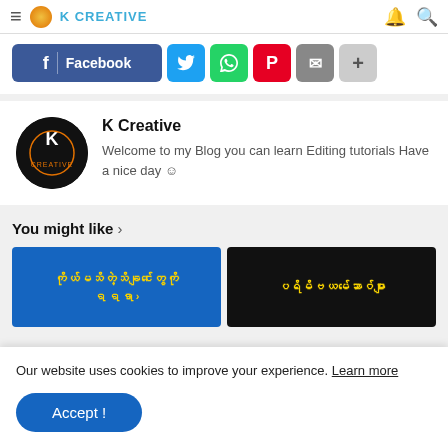K CREATIVE
[Figure (screenshot): Social share buttons row: Facebook (blue), Twitter (cyan), WhatsApp (green), Pinterest (red), Email (grey), More (+) button]
[Figure (infographic): Author card with K Creative logo (black circle with K emblem), name 'K Creative', bio: Welcome to my Blog you can learn Editing tutorials Have a nice day]
You might like >
[Figure (screenshot): Two thumbnail images side by side with Myanmar language text in yellow on blue and black backgrounds]
Our website uses cookies to improve your experience. Learn more
[Figure (other): Accept! button (blue rounded rectangle)]